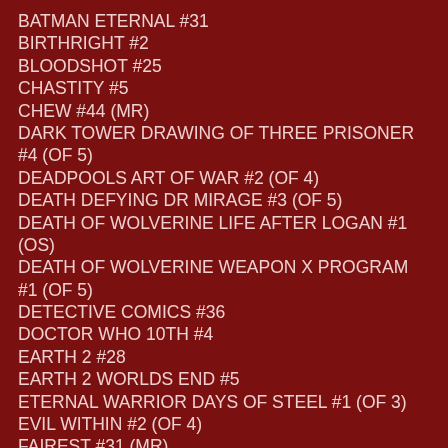BATMAN ETERNAL #31
BIRTHRIGHT #2
BLOODSHOT #25
CHASTITY #5
CHEW #44 (MR)
DARK TOWER DRAWING OF THREE PRISONER #4 (OF 5)
DEADPOOLS ART OF WAR #2 (OF 4)
DEATH DEFYING DR MIRAGE #3 (OF 5)
DEATH OF WOLVERINE LIFE AFTER LOGAN #1 (OS)
DEATH OF WOLVERINE WEAPON X PROGRAM #1 (OF 5)
DETECTIVE COMICS #36
DOCTOR WHO 10TH #4
EARTH 2 #28
EARTH 2 WORLDS END #5
ETERNAL WARRIOR DAYS OF STEEL #1 (OF 3)
EVIL WITHIN #2 (OF 4)
FAIREST #31 (MR)
FAIRY QUEST OUTCASTS #1
FLASH SEASON ZERO #2
GAME OF THRONES #22 (MR)
GARFIELD #31